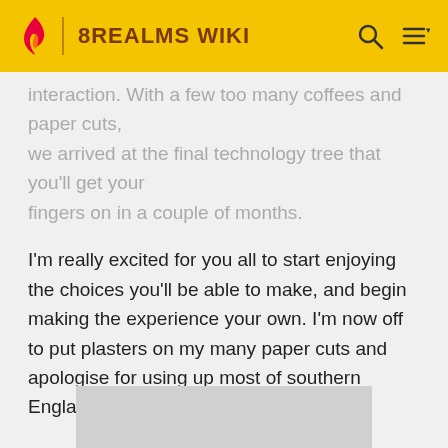8REALMS WIKI
interaction. With a few too many coffees and paper cuts, we arrived at the final technology tree that you'll get your fingers on in a couple of months.
I'm really excited for you all to start enjoying the choices you'll be able to make, and begin making the experience your own. I'm now off to put plasters on my many paper cuts and apologise for using up most of southern England's supply of Post-it notes.
Stay Classy,
Mod_ThatJim
[Figure (other): Gray placeholder image rectangle at bottom of page]